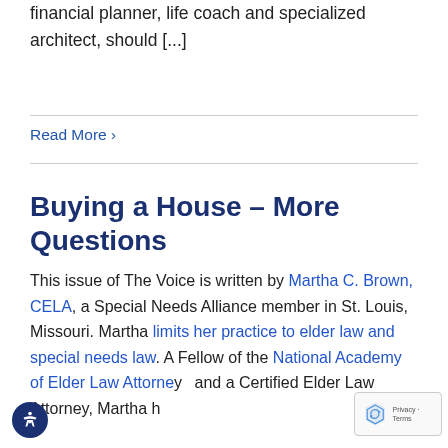financial planner, life coach and specialized architect, should [...]
Read More ›
Buying a House – More Questions
This issue of The Voice is written by Martha C. Brown, CELA, a Special Needs Alliance member in St. Louis, Missouri. Martha limits her practice to elder law and special needs law. A Fellow of the National Academy of Elder Law Attorneys and a Certified Elder Law Attorney, Martha has been designated a Supreme Court for the her in